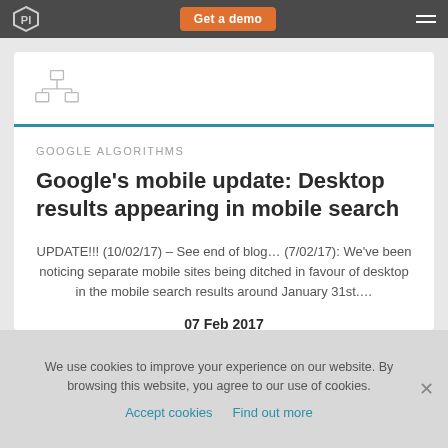Get a demo
[Figure (illustration): Network/organizational chart icon in light gray]
GOOGLE ALGORITHMS
Google's mobile update: Desktop results appearing in mobile search
UPDATE!!! (10/02/17) – See end of blog… (7/02/17): We've been noticing separate mobile sites being ditched in favour of desktop in the mobile search results around January 31st....
07 Feb 2017
We use cookies to improve your experience on our website. By browsing this website, you agree to our use of cookies.
Accept cookies   Find out more